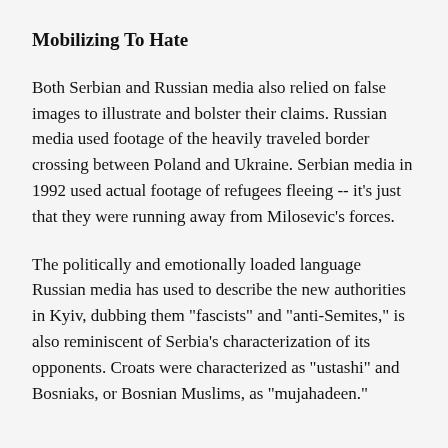Mobilizing To Hate
Both Serbian and Russian media also relied on false images to illustrate and bolster their claims. Russian media used footage of the heavily traveled border crossing between Poland and Ukraine. Serbian media in 1992 used actual footage of refugees fleeing -- it's just that they were running away from Milosevic's forces.
The politically and emotionally loaded language Russian media has used to describe the new authorities in Kyiv, dubbing them "fascists" and "anti-Semites," is also reminiscent of Serbia's characterization of its opponents. Croats were characterized as "ustashi" and Bosniaks, or Bosnian Muslims, as "mujahadeen."